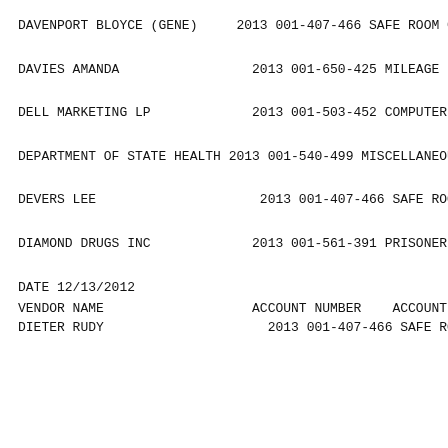| VENDOR NAME | ACCOUNT NUMBER | ACCOUNT NAME |
| --- | --- | --- |
| DAVENPORT BLOYCE (GENE) | 2013 001-407-466 | SAFE ROOM GRA... |
| DAVIES AMANDA | 2013 001-650-425 | MILEAGE |
| DELL MARKETING LP | 2013 001-503-452 | COMPUTER EQU... |
| DEPARTMENT OF STATE HEALTH | 2013 001-540-499 | MISCELLANEOUS... |
| DEVERS LEE | 2013 001-407-466 | SAFE ROOM GRA... |
| DIAMOND DRUGS INC | 2013 001-561-391 | PRISONER MED... |
| DIETER RUDY | 2013 001-407-466 | SAFE ROOM GRA... |
DATE 12/13/2012
VENDOR NAME          ACCOUNT NUMBER   ACCOUNT NAME